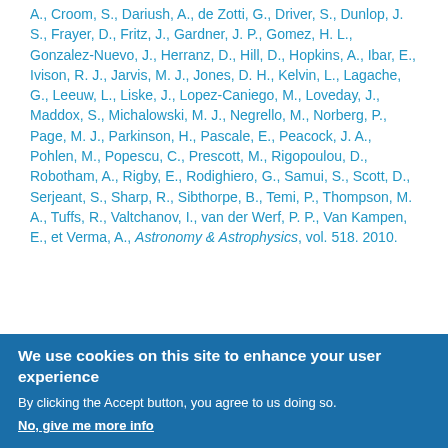A., Croom, S., Dariush, A., de Zotti, G., Driver, S., Dunlop, J. S., Frayer, D., Fritz, J., Gardner, J. P., Gomez, H. L., Gonzalez-Nuevo, J., Herranz, D., Hill, D., Hopkins, A., Ibar, E., Ivison, R. J., Jarvis, M. J., Jones, D. H., Kelvin, L., Lagache, G., Leeuw, L., Liske, J., Lopez-Caniego, M., Loveday, J., Maddox, S., Michalowski, M. J., Negrello, M., Norberg, P., Page, M. J., Parkinson, H., Pascale, E., Peacock, J. A., Pohlen, M., Popescu, C., Prescott, M., Rigopoulou, D., Robotham, A., Rigby, E., Rodighiero, G., Samui, S., Scott, D., Serjeant, S., Sharp, R., Sibthorpe, B., Temi, P., Thompson, M. A., Tuffs, R., Valtchanov, I., van der Werf, P. P., Van Kampen, E., et Verma, A., Astronomy & Astrophysics, vol. 518. 2010.
We use cookies on this site to enhance your user experience
By clicking the Accept button, you agree to us doing so.
No, give me more info